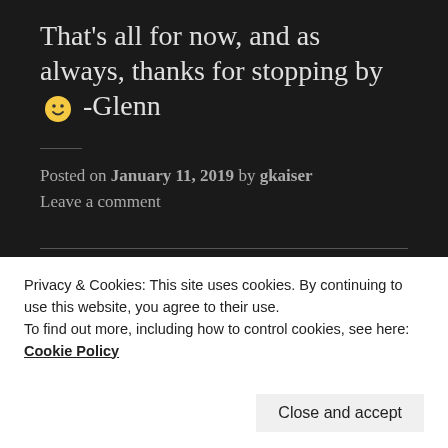That's all for now, and as always, thanks for stopping by 🙂 -Glenn
Posted on January 11, 2019 by gkaiser
Leave a comment
Orthodox OR ELSE?
After The Bible I typically go to A.W.
Privacy & Cookies: This site uses cookies. By continuing to use this website, you agree to their use.
To find out more, including how to control cookies, see here: Cookie Policy
Close and accept
contemporary.